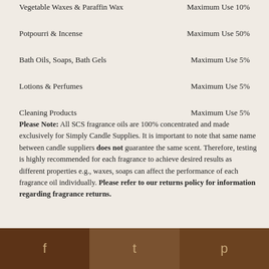Vegetable Waxes & Paraffin Wax — Maximum Use 10%
Potpourri & Incense — Maximum Use 50%
Bath Oils, Soaps, Bath Gels — Maximum Use 5%
Lotions & Perfumes — Maximum Use 5%
Cleaning Products — Maximum Use 5%
Please Note: All SCS fragrance oils are 100% concentrated and made exclusively for Simply Candle Supplies. It is important to note that same name between candle suppliers does not guarantee the same scent. Therefore, testing is highly recommended for each fragrance to achieve desired results as different properties e.g., waxes, soaps can affect the performance of each fragrance oil individually. Please refer to our returns policy for information regarding fragrance returns.
Facebook | Twitter | Pinterest